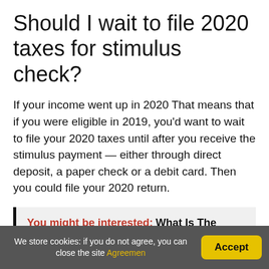Should I wait to file 2020 taxes for stimulus check?
If your income went up in 2020 That means that if you were eligible in 2019, you'd want to wait to file your 2020 taxes until after you receive the stimulus payment — either through direct deposit, a paper check or a debit card. Then you could file your 2020 return.
You might be interested: What Is The Largest County In Size In New Mexico?
What day of the week does
We store cookies: if you do not agree, you can close the site Agreemen